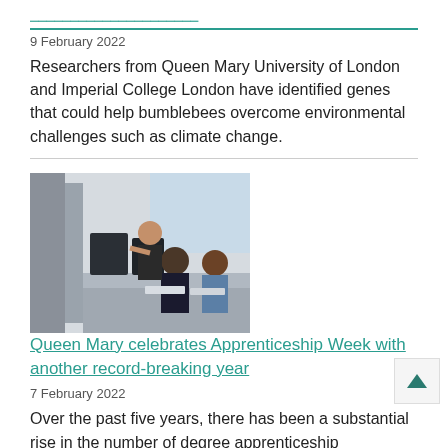[link: partial article title visible at top]
9 February 2022
Researchers from Queen Mary University of London and Imperial College London have identified genes that could help bumblebees overcome environmental challenges such as climate change.
[Figure (photo): Two people working at computer workstations in a lab or office environment, with a third person standing behind them pointing at a screen.]
Queen Mary celebrates Apprenticeship Week with another record-breaking year
7 February 2022
Over the past five years, there has been a substantial rise in the number of degree apprenticeship programmes offered at Queen